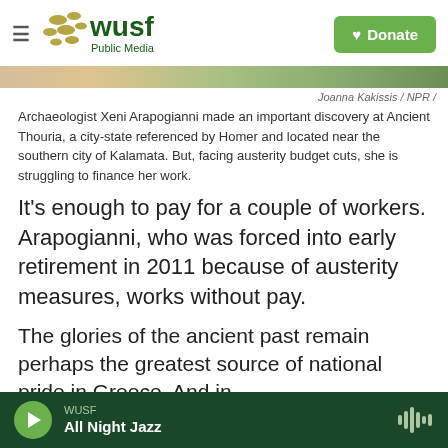WUSF Public Media
Joanna Kakissis / NPR /
Archaeologist Xeni Arapogianni made an important discovery at Ancient Thouria, a city-state referenced by Homer and located near the southern city of Kalamata. But, facing austerity budget cuts, she is struggling to finance her work.
It's enough to pay for a couple of workers. Arapogianni, who was forced into early retirement in 2011 because of austerity measures, works without pay.
The glories of the ancient past remain perhaps the greatest source of national pride in Greece. And in
WUSF All Night Jazz